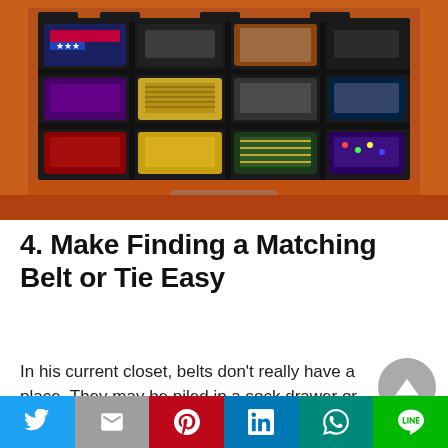[Figure (photo): A wooden dresser drawer open, containing a black organizer tray with 12 compartments holding rolled ties and accessories neatly arranged in rows of four.]
4. Make Finding a Matching Belt or Tie Easy
In his current closet, belts don't really have a place. They may be piled in a sock drawer or
[Figure (other): Social sharing bar with icons for Twitter, Mail, Pinterest, LinkedIn, WhatsApp, and Line]